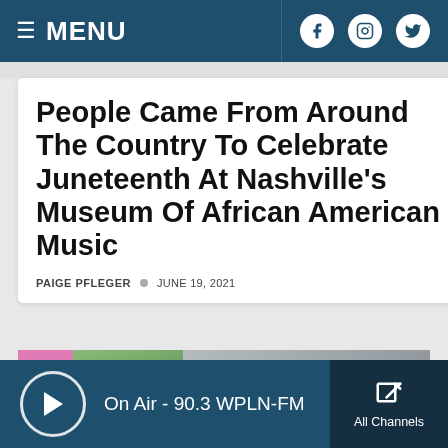≡ MENU
People Came From Around The Country To Celebrate Juneteenth At Nashville's Museum Of African American Music
PAIGE PFLEGER  JUNE 19, 2021
[Figure (photo): Partial view of outdoor event at Nashville's Museum of African American Music with pink tent and greenery visible]
On Air - 90.3 WPLN-FM  All Channels